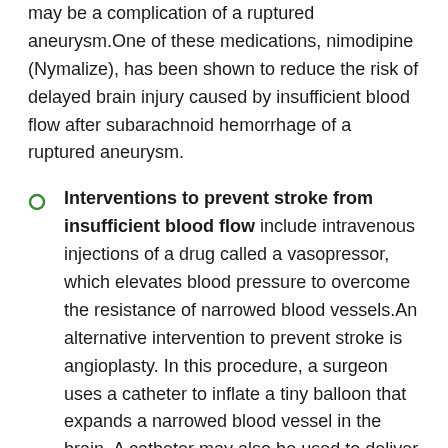may be a complication of a ruptured aneurysm.One of these medications, nimodipine (Nymalize), has been shown to reduce the risk of delayed brain injury caused by insufficient blood flow after subarachnoid hemorrhage of a ruptured aneurysm.
Interventions to prevent stroke from insufficient blood flow include intravenous injections of a drug called a vasopressor, which elevates blood pressure to overcome the resistance of narrowed blood vessels.An alternative intervention to prevent stroke is angioplasty. In this procedure, a surgeon uses a catheter to inflate a tiny balloon that expands a narrowed blood vessel in the brain. A catheter may also be used to deliver to the brain a drug called a vasodilator, which causes